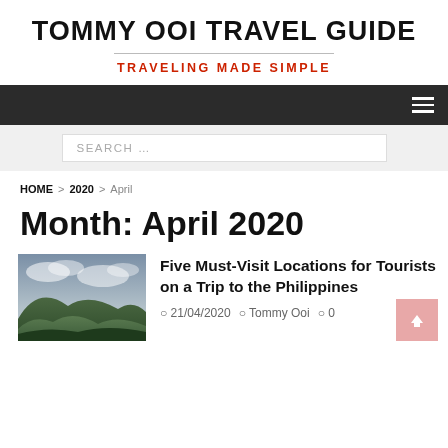TOMMY OOI TRAVEL GUIDE
TRAVELING MADE SIMPLE
HOME > 2020 > April
Month: April 2020
[Figure (photo): Landscape photo of green hills with cloudy sky, Philippines scenery]
Five Must-Visit Locations for Tourists on a Trip to the Philippines
21/04/2020  Tommy Ooi  0